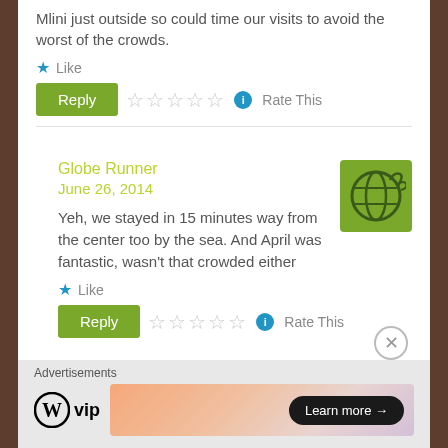Mlini just outside so could time our visits to avoid the worst of the crowds.
Like
Reply  Rate This
Globe Runner
June 26, 2014
Yeh, we stayed in 15 minutes way from the center too by the sea. And April was fantastic, wasn't that crowded either
Like
Reply  Rate This
Advertisements
[Figure (logo): WordPress VIP logo with circular W mark]
[Figure (illustration): Colorful gradient advertisement banner with Learn more button]